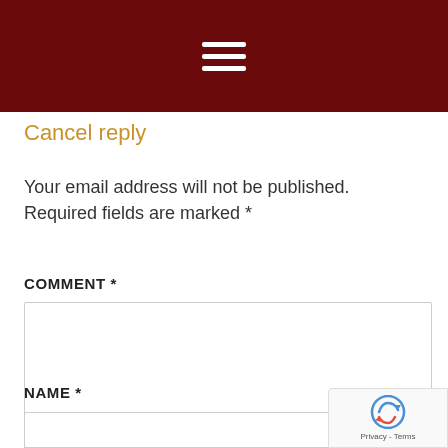[Figure (screenshot): Dark red navigation header bar with white hamburger menu icon (three horizontal lines) centered]
Cancel reply
Your email address will not be published. Required fields are marked *
COMMENT *
[Figure (screenshot): Comment text area input box, empty, with resize handle at bottom right]
NAME *
[Figure (screenshot): Name text input field, empty]
[Figure (screenshot): reCAPTCHA badge in bottom right corner showing reCAPTCHA logo and Privacy - Terms text]